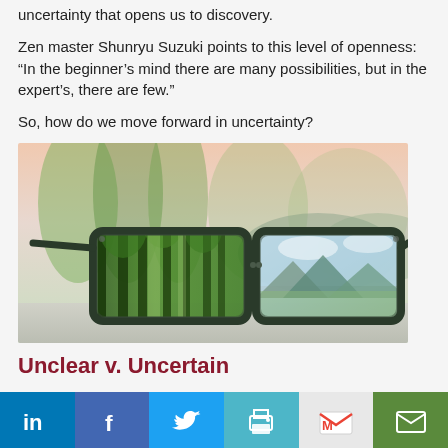uncertainty that opens us to discovery.
Zen master Shunryu Suzuki points to this level of openness: “In the beginner’s mind there are many possibilities, but in the expert’s, there are few.”
So, how do we move forward in uncertainty?
[Figure (photo): A pair of dark-framed glasses on a wooden surface. The left lens shows a lush green forest scene and the right lens shows a mountain landscape with sky, representing different perspectives or ways of seeing.]
Unclear v. Uncertain
[Figure (infographic): Social media sharing bar with icons for LinkedIn, Facebook, Twitter, Print, Gmail, and Email on colored backgrounds.]